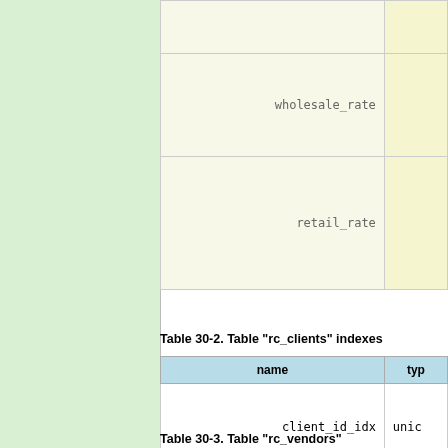| name | type |
| --- | --- |
| wholesale_rate |  |
| retail_rate |  |
Table 30-2. Table "rc_clients" indexes
| name | type |
| --- | --- |
| client_id_idx | uniq... |
Table 30-3. Table "rc_vendors"